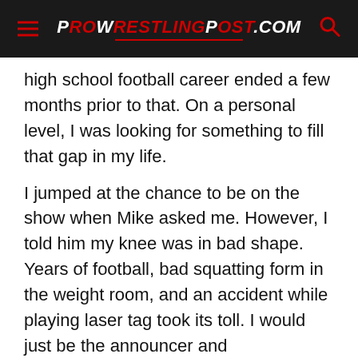ProWrestlingPost.com
high school football career ended a few months prior to that. On a personal level, I was looking for something to fill that gap in my life.
I jumped at the chance to be on the show when Mike asked me. However, I told him my knee was in bad shape. Years of football, bad squatting form in the weight room, and an accident while playing laser tag took its toll. I would just be the announcer and commentator for it rather than wrestle.
[Figure (other): Advertisement for The Jarkaster Journey with Schedule A Tour subtitle and Open button]